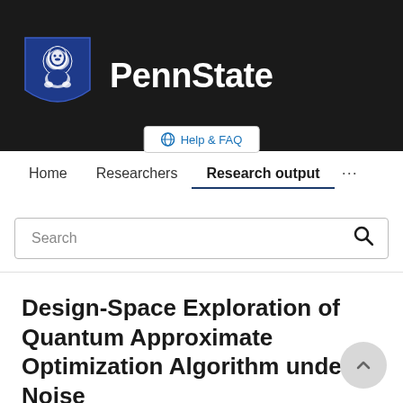[Figure (logo): Penn State university logo with lion shield and PennState text on dark background]
Help & FAQ
Home   Researchers   Research output   ...
Search
Design-Space Exploration of Quantum Approximate Optimization Algorithm under Noise